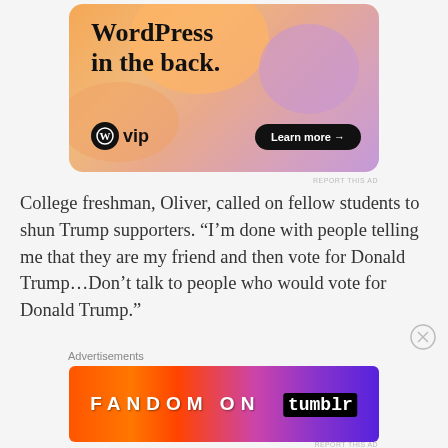[Figure (illustration): WordPress VIP advertisement with orange/purple gradient background showing 'WordPress in the back.' text, WordPress W logo with 'vip' text, and a 'Learn more →' button]
College freshman, Oliver, called on fellow students to shun Trump supporters. “I’m done with people telling me that they are my friend and then vote for Donald Trump…Don’t talk to people who would vote for Donald Trump.”
Advertisements
[Figure (illustration): Fandom on Tumblr advertisement with orange to purple gradient and white text reading 'FANDOM ON tumblr']